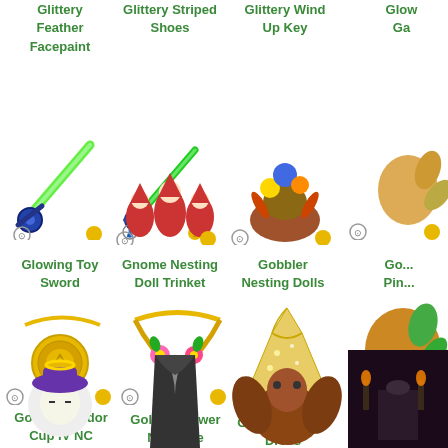Glittery Feather Facepaint
Glittery Striped Shoes
Glittery Wind Up Key
Glow... Ga...
[Figure (illustration): Glowing Toy Sword - a green glowing sword with blue handle]
Glowing Toy Sword
[Figure (illustration): Gnome Nesting Doll Trinket - three gnome figurines]
Gnome Nesting Doll Trinket
[Figure (illustration): Gobbler Nesting Dolls - stacked turkey/bird figurines]
Gobbler Nesting Dolls
Go... Pin...
[Figure (illustration): Golden Altador Cup IV NC Challenge Medallion - gold necklace with medallion]
Golden Altador Cup IV NC Challenge Medallion
[Figure (illustration): Golden Flower Necklace - gold chain with flower decorations]
Golden Flower Necklace
[Figure (illustration): Golden Sequin Dress - shimmering golden dress]
Golden Sequin Dress
Golde...
[Figure (illustration): Bottom row item 1 - purple character with hat]
[Figure (illustration): Bottom row item 2 - dark cape/robe]
[Figure (illustration): Bottom row item 3 - brown creature]
[Figure (illustration): Bottom row item 4 - dark scene/screenshot]